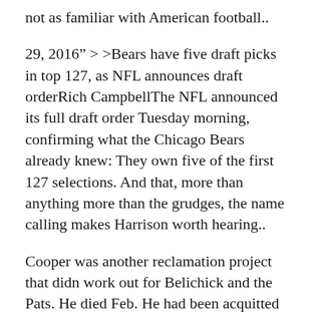not as familiar with American football..
29, 2016” > >Bears have five draft picks in top 127, as NFL announces draft orderRich CampbellThe NFL announced its full draft order Tuesday morning, confirming what the Chicago Bears already knew: They own five of the first 127 selections. And that, more than anything more than the grudges, the name calling makes Harrison worth hearing..
Cooper was another reclamation project that didn work out for Belichick and the Pats. He died Feb. He had been acquitted of murder custom football jerseys for sale in the 2012 shooting deaths of two Boston men just five days before his suicide.. They lost star quarterback Deshaun Watson, who is playing the same way in the NFL.
The combine was my chance to showcase my healthier, faster form side by side with the best college football